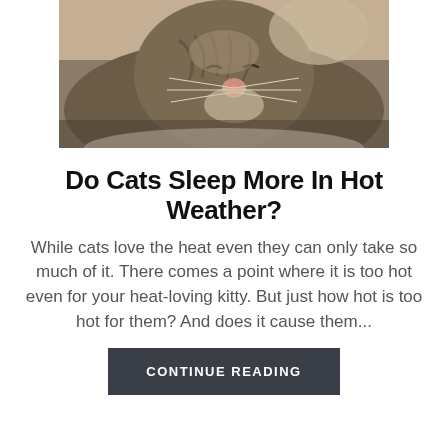[Figure (photo): Close-up photo of a tabby cat sleeping with its face resting, eyes closed, whiskers visible, warm brown and grey tones]
Do Cats Sleep More In Hot Weather?
While cats love the heat even they can only take so much of it. There comes a point where it is too hot even for your heat-loving kitty. But just how hot is too hot for them? And does it cause them...
CONTINUE READING